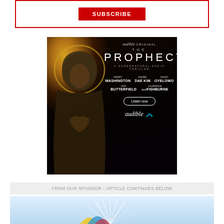[Figure (other): Red-bordered white banner with a red SUBSCRIBE button in the center]
[Figure (illustration): Audible Original advertisement for 'The Prophecy - A Supernatural Audio Thriller' featuring a hooded figure with a golden halo on a dark background. Cast includes Kerry Washington, Daniel Dae Kim, David Oyelowo, Asa Butterfield and Laurence Fishburne. Features a 'Listen now' button and the Audible logo.]
FROM OUR SPONSOR - ARTICLE CONTINUES BELOW
[Figure (illustration): Bottom portion of a light blue advertisement with a partial illustration visible]